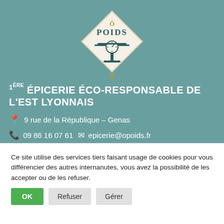[Figure (logo): Ô Poids logo: a diamond-shaped emblem with the text 'Ô POIDS' and an illustration of a vintage weighing scale on a cream background, with a small gold diamond at the bottom.]
1ÈRE ÉPICERIE ÉCO-RESPONSABLE DE L'EST LYONNAIS
9 rue de la République – Genas
09 86 16 07 61  epicerie@opoids.fr
[Figure (illustration): Two social media icon buttons (Instagram and Facebook) in orange-brown color]
Ce site utilise des services tiers faisant usage de cookies pour vous différencier des autres internanutes, vous avez la possibilité de les accepter ou de les refuser.
OK  Refuser  Gérer